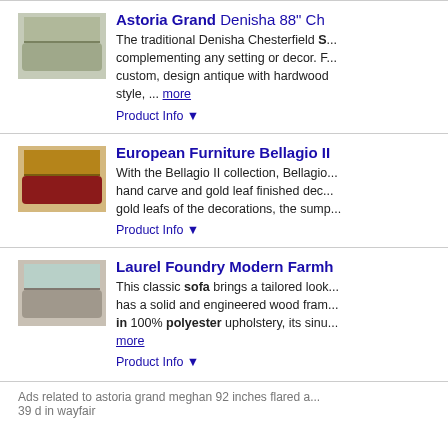[Figure (photo): Photo of an ornate traditional Chesterfield sofa with green/gold fabric and carved white/gold wood frame]
Astoria Grand Denisha 88" Ch... The traditional Denisha Chesterfield S... complementing any setting or decor. F... custom, design antique with hardwood style, ... more
Product Info ▼
[Figure (photo): Photo of a red velvet sofa with gold leaf carved wood frame - European Furniture Bellagio II collection]
European Furniture Bellagio II ... With the Bellagio II collection, Bellagio... hand carve and gold leaf finished deco... gold leafs of the decorations, the sump...
Product Info ▼
[Figure (photo): Photo of a grey tufted sofa in a bright living room with large windows - Laurel Foundry Modern Farmhouse]
Laurel Foundry Modern Farmh... This classic sofa brings a tailored look... has a solid and engineered wood fram... in 100% polyester upholstery, its sinu... more
Product Info ▼
Ads related to astoria grand meghan 92 inches flared a... 39 d in wayfair